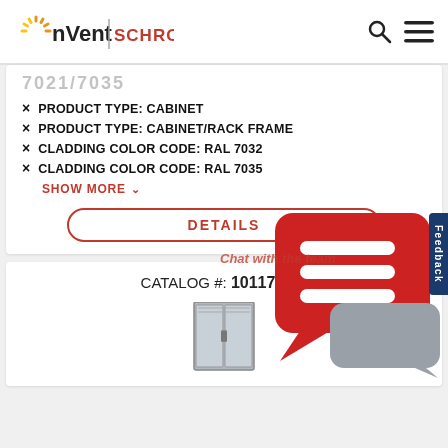nVent SCHROFF
7021/7035
× PRODUCT TYPE: CABINET
× PRODUCT TYPE: CABINET/RACK FRAME
× CLADDING COLOR CODE: RAL 7032
× CLADDING COLOR CODE: RAL 7035
SHOW MORE
DETAILS
CATALOG #: 10117-529
[Figure (photo): Cabinet/rack enclosure product photo, bottom portion visible]